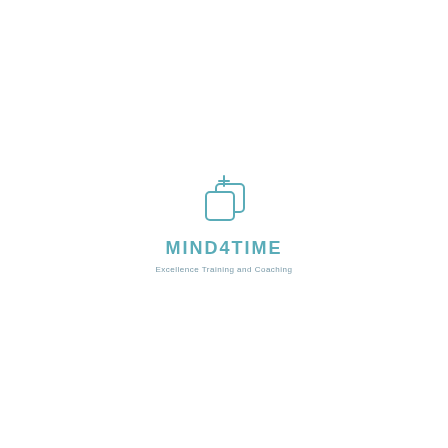[Figure (logo): MIND4TIME logo: a teal/cyan icon showing two overlapping rounded squares with a small cross/plus symbol at the top, above the text MIND4TIME in bold teal uppercase letters, and the tagline 'Excellence Training and Coaching' in smaller grey text below.]